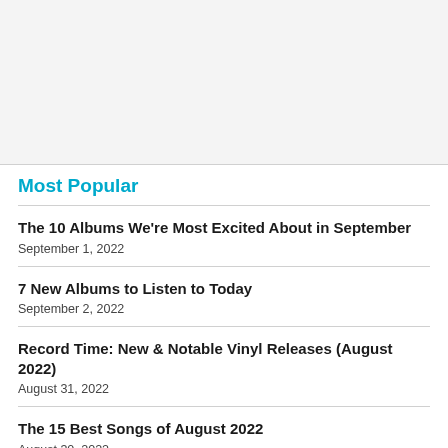[Figure (other): Gray advertisement/banner placeholder area]
Most Popular
The 10 Albums We're Most Excited About in September
September 1, 2022
7 New Albums to Listen to Today
September 2, 2022
Record Time: New & Notable Vinyl Releases (August 2022)
August 31, 2022
The 15 Best Songs of August 2022
August 30, 2022